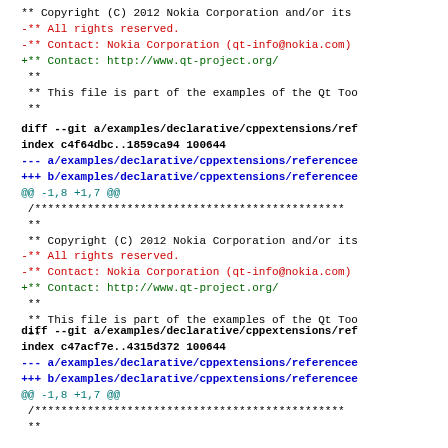** Copyright (C) 2012 Nokia Corporation and/or its
-** All rights reserved.
-** Contact: Nokia Corporation (qt-info@nokia.com)
+** Contact: http://www.qt-project.org/
 **
 ** This file is part of the examples of the Qt Too
 **
diff --git a/examples/declarative/cppextensions/ref
index c4f64dbc..1859ca94 100644
--- a/examples/declarative/cppextensions/referencee
+++ b/examples/declarative/cppextensions/referencee
@@ -1,8 +1,7 @@
 /***********************************************
 **
 ** Copyright (C) 2012 Nokia Corporation and/or its
-** All rights reserved.
-** Contact: Nokia Corporation (qt-info@nokia.com)
+** Contact: http://www.qt-project.org/
 **
 ** This file is part of the examples of the Qt Too
 **
diff --git a/examples/declarative/cppextensions/ref
index c47acf7e..4315d372 100644
--- a/examples/declarative/cppextensions/referencee
+++ b/examples/declarative/cppextensions/referencee
@@ -1,8 +1,7 @@
 /***********************************************
 **